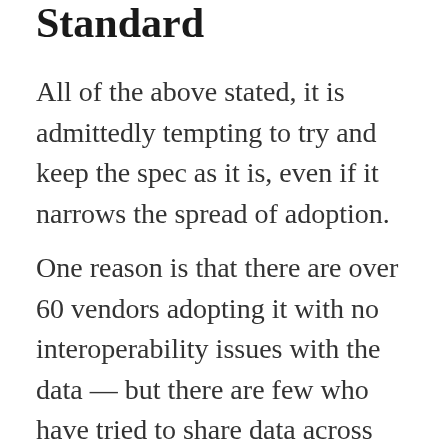Standard
All of the above stated, it is admittedly tempting to try and keep the spec as it is, even if it narrows the spread of adoption.
One reason is that there are over 60 vendors adopting it with no interoperability issues with the data — but there are few who have tried to share data across different LRSs. Still, that's a pretty damn significant